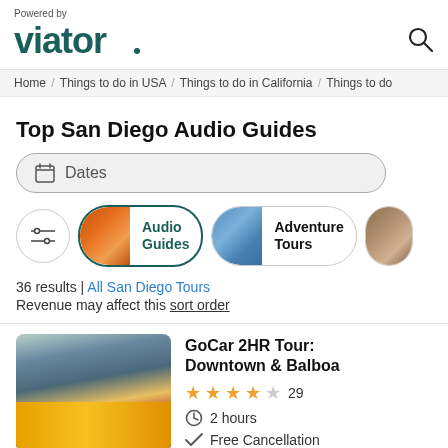Powered by viator.
Home / Things to do in USA / Things to do in California / Things to do...
Top San Diego Audio Guides
Dates
[Figure (screenshot): Category filter pills: filter icon, Audio Guides (selected), Adventure Tours, partial third pill]
36 results | All San Diego Tours
Revenue may affect this sort order
[Figure (photo): Photo of GoCar yellow vehicle with riders in helmets, outdoor urban setting]
GoCar 2HR Tour: Downtown & Balboa
★★★★☆ 29
2 hours
Free Cancellation